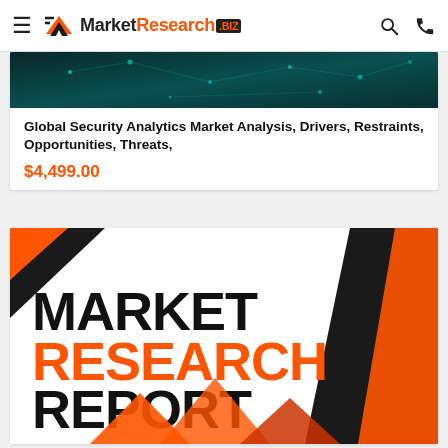MarketResearch.BIZ
[Figure (screenshot): Teal/dark network background image for the first product card]
Global Security Analytics Market Analysis, Drivers, Restraints, Opportunities, Threats,
$4,499.00
[Figure (illustration): Market Research Report branding image with black and orange geometric shapes on white background, text reads MARKET RESEARCH REPORT]